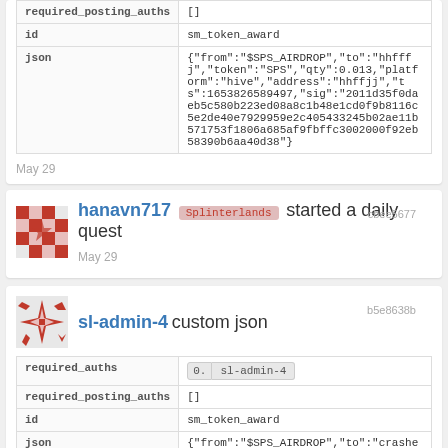| field | value |
| --- | --- |
| required_posting_auths | [] |
| id | sm_token_award |
| json | {"from":"$SPS_AIRDROP","to":"hhffjj","token":"SPS","qty":0.013,"platform":"hive","address":"hhffjj","ts":1653826589497,"sig":"2011d35f0daeb5c580b223ed08a8c1b48e1cd0f9b8116c5e2de40e7929959e2c405433245b02ae11b571753f1806a685af9fbffc3002000f92eb58390b6aa40d38"} |
May 29
cbee5677
hanavn717 Splinterlands started a daily quest
May 29
b5e8638b
sl-admin-4 custom json
| field | value |
| --- | --- |
| required_auths | 0.  sl-admin-4 |
| required_posting_auths | [] |
| id | sm_token_award |
| json | {"from":"$SPS_AIRDROP","to":"crasher351","token":"SPS","qty":0.3339 |